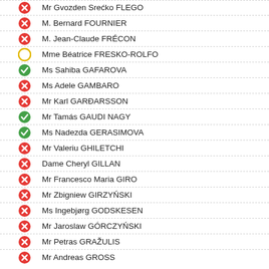Mr Gvozden Srećko FLEGO
M. Bernard FOURNIER
M. Jean-Claude FRÉCON
Mme Béatrice FRESKO-ROLFO
Ms Sahiba GAFAROVA
Ms Adele GAMBARO
Mr Karl GARÐARSSON
Mr Tamás GAUDI NAGY
Ms Nadezda GERASIMOVA
Mr Valeriu GHILETCHI
Dame Cheryl GILLAN
Mr Francesco Maria GIRO
Mr Zbigniew GIRZYŃSKI
Ms Ingebjørg GODSKESEN
Mr Jaroslaw GÓRCZYŃSKI
Mr Petras GRAŽULIS
Mr Andreas GROSS